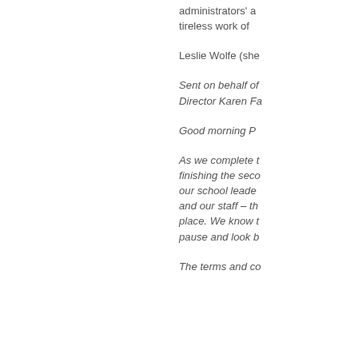administrators' a tireless work of
Leslie Wolfe (she
Sent on behalf of Director Karen Fa
Good morning P
As we complete t finishing the seco our school leade and our staff – th place. We know t pause and look b
The terms and co